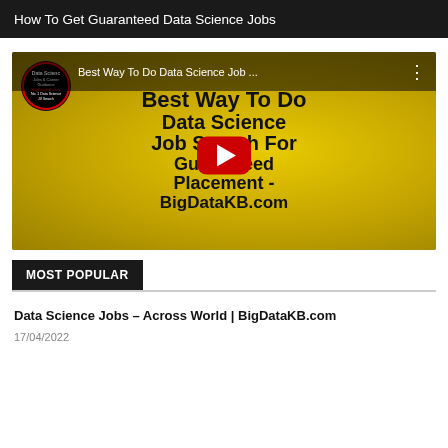How To Get Guaranteed Data Science Jobs
[Figure (screenshot): YouTube video thumbnail showing 'Best Way To Do Data Science Job Search For Guaranteed Placement - BigDataKB.com' with a golden background and red play button overlay, and a channel icon for BigDataKB.com]
MOST POPULAR
Data Science Jobs – Across World | BigDataKB.com
17/04/2022